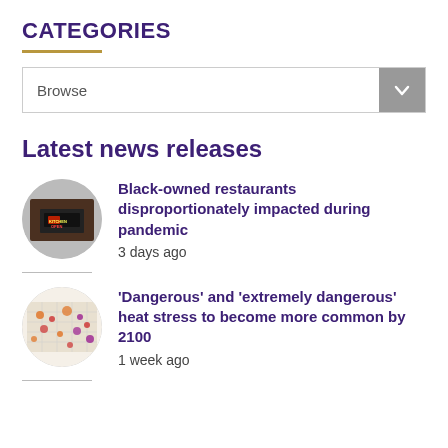CATEGORIES
Browse
Latest news releases
[Figure (photo): Circular thumbnail photo of a restaurant exterior with a neon KITCHEN OPEN sign]
Black-owned restaurants disproportionately impacted during pandemic
3 days ago
[Figure (map): Circular thumbnail of a colorful heat stress world map]
'Dangerous' and 'extremely dangerous' heat stress to become more common by 2100
1 week ago